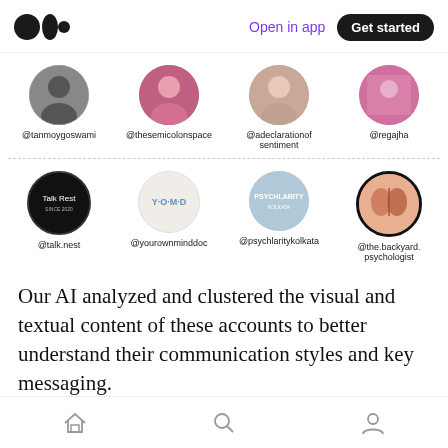Medium logo | Open in app | Get started
[Figure (photo): Row of four circular profile photos with handles: @tanmoygoswami, @thesemicolonspace, @adeclarationofsentiment, @regajha]
[Figure (logo): Row of four circular logo/profile images with handles: @talk.nest, @yourownminddoc, @psychlaritykolkata, @the.backyard.psychologist]
Our AI analyzed and clustered the visual and textual content of these accounts to better understand their communication styles and key messaging.
Home | Search | Profile navigation icons